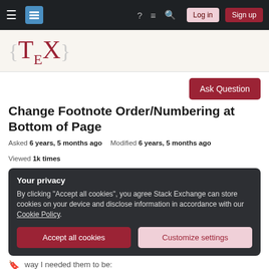TeX Stack Exchange navigation bar with hamburger menu, logo, help, chat, search, Log in, Sign up
[Figure (logo): TeX Stack Exchange logo with {TeX} in dark red serif font on cream background]
Ask Question
Change Footnote Order/Numbering at Bottom of Page
Asked 6 years, 5 months ago   Modified 6 years, 5 months ago   Viewed 1k times
Your privacy
By clicking "Accept all cookies", you agree Stack Exchange can store cookies on your device and disclose information in accordance with our Cookie Policy.
Accept all cookies   Customize settings
way I needed them to be: